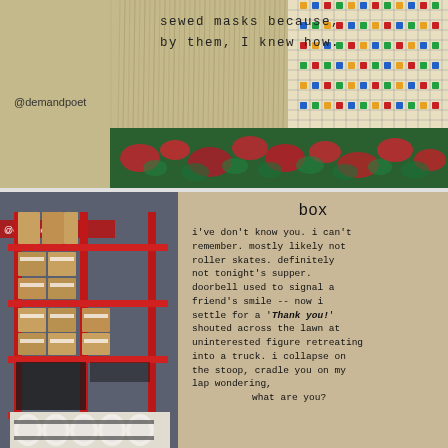[Figure (photo): Top image block with typewriter text on aged paper background, textile/weave pattern on right, floral fabric at bottom]
sewed masks because,
by them, I knew how.
@demandpoet
[Figure (photo): Left half: photo of warehouse/store shelves with brown cardboard boxes stacked on red metal shelving. Handle @demandpoetry visible. Right half: typed poem on tan/kraft paper background titled 'box']
box

i've don't know you. i can't remember. mostly likely not roller skates. definitely not tonight's supper. doorbell used to signal a friend's smile -- now i settle for a 'Thank you!' shouted across the lawn at uninterested figure retreating into a truck. i collapse on the stoop, cradle you on my lap wondering,
                    what are you?